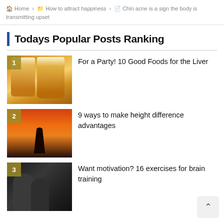Home > How to attract happiness > Chin acne is a sign the body is transmitting upset
Todays Popular Posts Ranking
For a Party! 10 Good Foods for the Liver
9 ways to make height difference advantages
Want motivation? 16 exercises for brain training